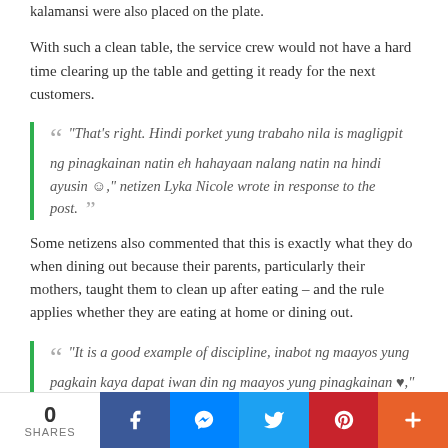kalamansi were also placed on the plate.
With such a clean table, the service crew would not have a hard time clearing up the table and getting it ready for the next customers.
“That’s right. Hindi porket yung trabaho nila is magligpit ng pinagkainan natin eh hahayaan nalang natin na hindi ayusin ☺,” netizen Lyka Nicole wrote in response to the post.
Some netizens also commented that this is exactly what they do when dining out because their parents, particularly their mothers, taught them to clean up after eating – and the rule applies whether they are eating at home or dining out.
“It is a good example of discipline, inabot ng maayos yung pagkain kaya dapat iwan din ng maayos yung pinagkainan ♥,” netizen Sean Kristoffer Ronquillo agreed.
0 SHARES | Facebook | Messenger | Twitter | Pinterest | More